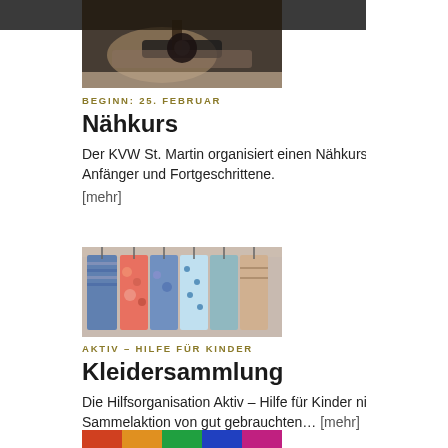[Figure (photo): Close-up photo of hands sewing with a sewing machine, dark background, top portion visible]
BEGINN: 25. FEBRUAR
Nähkurs
Der KVW St. Martin organisiert einen Nähkurs für Anfänger und Fortgeschrittene.
[mehr]
[Figure (photo): Photo of colorful clothes hanging on a rack, various patterns including floral and striped]
AKTIV – HILFE FÜR KINDER
Kleidersammlung
Die Hilfsorganisation Aktiv – Hilfe für Kinder nimmt die Sammelaktion von gut gebrauchten... [mehr]
[Figure (photo): Bottom portion of a colorful image, partially cropped at page bottom]